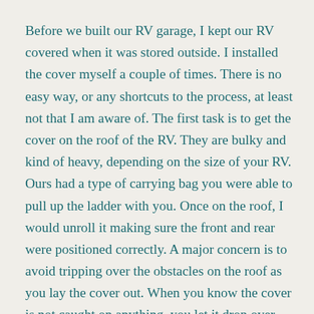Before we built our RV garage, I kept our RV covered when it was stored outside. I installed the cover myself a couple of times. There is no easy way, or any shortcuts to the process, at least not that I am aware of. The first task is to get the cover on the roof of the RV. They are bulky and kind of heavy, depending on the size of your RV. Ours had a type of carrying bag you were able to pull up the ladder with you. Once on the roof, I would unroll it making sure the front and rear were positioned correctly. A major concern is to avoid tripping over the obstacles on the roof as you lay the cover out. When you know the cover is not caught on anything, you let it drop over the front